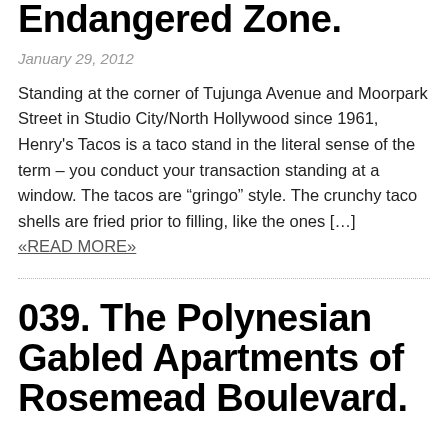Endangered Zone.
January 29, 2012
Standing at the corner of Tujunga Avenue and Moorpark Street in Studio City/North Hollywood since 1961, Henry's Tacos is a taco stand in the literal sense of the term – you conduct your transaction standing at a window. The tacos are “gringo” style. The crunchy taco shells are fried prior to filling, like the ones […] «READ MORE»
039. The Polynesian Gabled Apartments of Rosemead Boulevard.